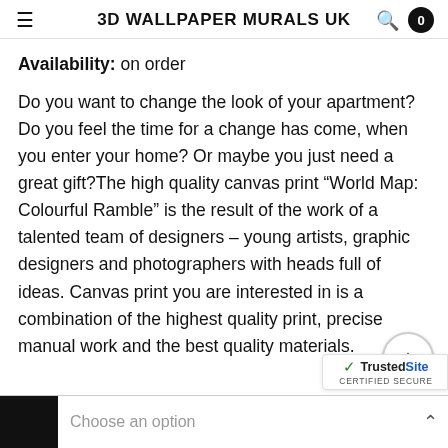3D WALLPAPER MURALS UK
Availability: on order
Do you want to change the look of your apartment? Do you feel the time for a change has come, when you enter your home? Or maybe you just need a great gift?The high quality canvas print “World Map: Colourful Ramble” is the result of the work of a talented team of designers – young artists, graphic designers and photographers with heads full of ideas. Canvas print you are interested in is a combination of the highest quality print, precise manual work and the best quality materials.